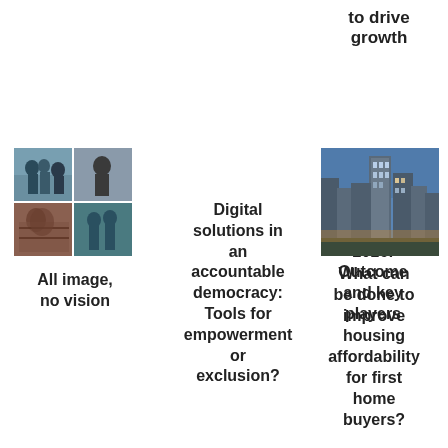to drive growth
[Figure (photo): Collage of black and white historical photos showing people]
All image, no vision
Digital solutions in an accountable democracy: Tools for empowerment or exclusion?
Federal election 2016: Outcome and key players
[Figure (photo): Aerial/street view photo of city buildings at dusk]
What can be done to improve housing affordability for first home buyers?